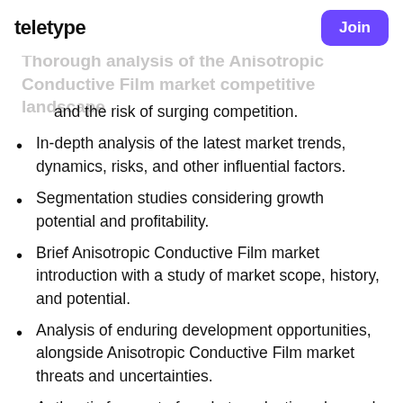TELETYPE | Join
Thorough analysis of the Anisotropic Conductive Film market competitive landscape and the risk of surging competition.
In-depth analysis of the latest market trends, dynamics, risks, and other influential factors.
Segmentation studies considering growth potential and profitability.
Brief Anisotropic Conductive Film market introduction with a study of market scope, history, and potential.
Analysis of enduring development opportunities, alongside Anisotropic Conductive Film market threats and uncertainties.
Authentic forecast of market production, demand, revenue, and growth rate.